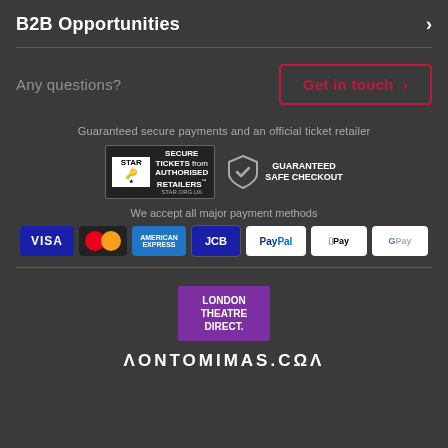B2B Opportunities
Any questions?
Get in touch >
Guaranteed secure payments and an official ticket retailer
[Figure (logo): STAR - Secure Tickets from Authorised Retailers logo, star.org.uk]
[Figure (logo): Guaranteed Safe Checkout shield badge]
We accept all major payment methods
[Figure (logo): Payment method logos: VISA, Mastercard, American Express, JCB, PayPal, Apple Pay, Google Pay]
[Figure (logo): London Theatre Direct logo - purple square with white text]
PANTOMIMES.COM